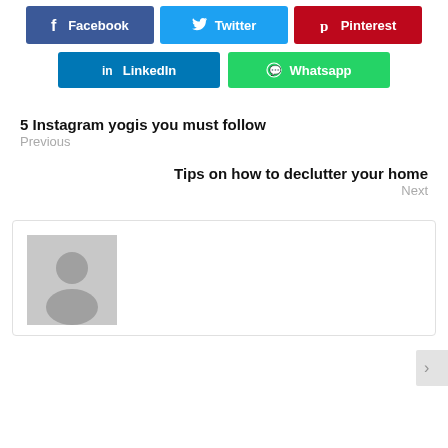[Figure (infographic): Social share buttons: Facebook (blue), Twitter (light blue), Pinterest (red) in first row; LinkedIn (dark blue), Whatsapp (green) in second row]
5 Instagram yogis you must follow
Previous
Tips on how to declutter your home
Next
[Figure (illustration): Author box with grey placeholder avatar (person silhouette icon)]